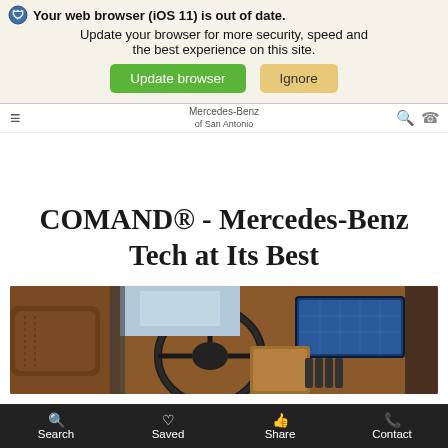Mercedes-Benz of San Antonio
Your web browser (iOS 11) is out of date. Update your browser for more security, speed and the best experience on this site.
Update browser | Ignore
COMAND® - Mercedes-Benz Tech at Its Best
[Figure (photo): Interior of a Mercedes-Benz vehicle showing the steering wheel, brown leather seats, and the COMAND infotainment screen displaying navigation.]
Search | Saved | Share | Contact